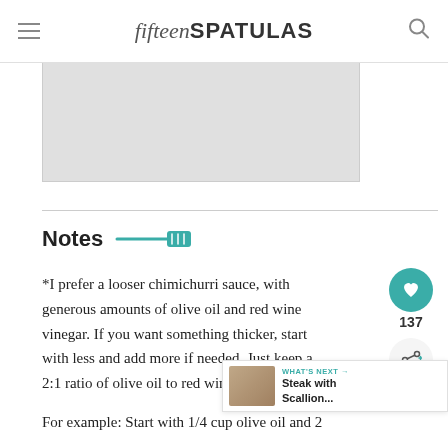fifteen SPATULAS
[Figure (photo): Partial image placeholder (gray rectangle), likely a food recipe photo]
Notes
*I prefer a looser chimichurri sauce, with generous amounts of olive oil and red wine vinegar. If you want something thicker, start with less and add more if needed. Just keep a 2:1 ratio of olive oil to red wine vinegar.
For example: Start with 1/4 cup olive oil and 2